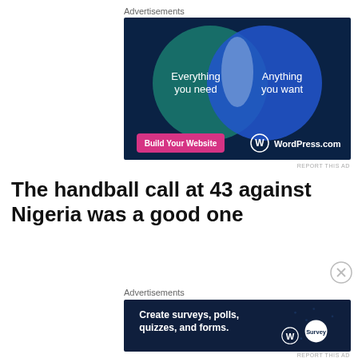Advertisements
[Figure (illustration): WordPress.com advertisement showing a Venn diagram with two overlapping circles on a dark blue background. Left circle (teal/green): 'Everything you need'. Right circle (blue): 'Anything you want'. Overlapping region is light grey-blue. Bottom left: pink button 'Build Your Website'. Bottom right: WordPress logo and 'WordPress.com'.]
REPORT THIS AD
The handball call at 43 against Nigeria was a good one
Advertisements
[Figure (illustration): Advertisement on dark navy background: 'Create surveys, polls, quizzes, and forms.' with WordPress logo and a circular SurveyMonkey-style icon on the right.]
REPORT THIS AD